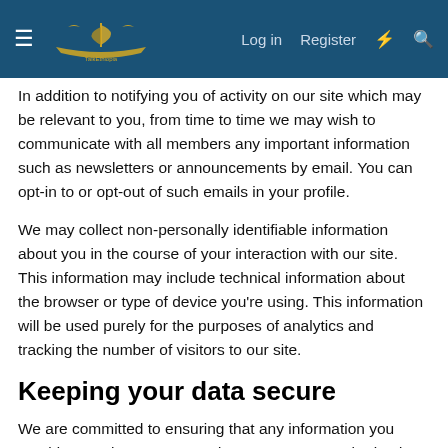Log in  Register
In addition to notifying you of activity on our site which may be relevant to you, from time to time we may wish to communicate with all members any important information such as newsletters or announcements by email. You can opt-in to or opt-out of such emails in your profile.
We may collect non-personally identifiable information about you in the course of your interaction with our site. This information may include technical information about the browser or type of device you're using. This information will be used purely for the purposes of analytics and tracking the number of visitors to our site.
Keeping your data secure
We are committed to ensuring that any information you provide to us is secure. In order to prevent unauthorized access or disclosure, we have put in place suitable measures and procedures to safeguard and secure the information that we collect.